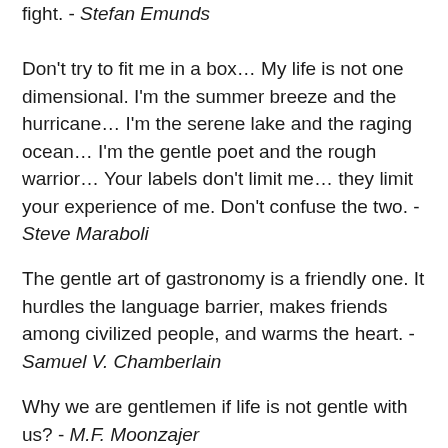fight. - Stefan Emunds
Don't try to fit me in a box… My life is not one dimensional. I'm the summer breeze and the hurricane… I'm the serene lake and the raging ocean… I'm the gentle poet and the rough warrior… Your labels don't limit me… they limit your experience of me. Don't confuse the two. - Steve Maraboli
The gentle art of gastronomy is a friendly one. It hurdles the language barrier, makes friends among civilized people, and warms the heart. - Samuel V. Chamberlain
Why we are gentlemen if life is not gentle with us? - M.F. Moonzajer